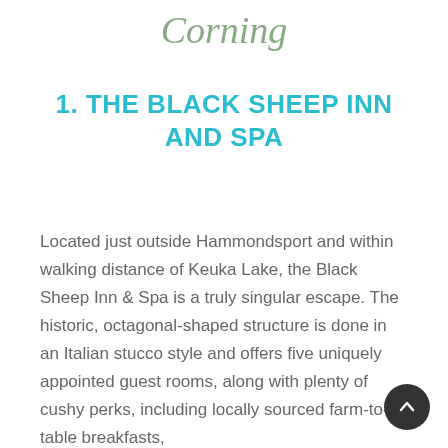Corning
1. THE BLACK SHEEP INN AND SPA
Located just outside Hammondsport and within walking distance of Keuka Lake, the Black Sheep Inn & Spa is a truly singular escape. The historic, octagonal-shaped structure is done in an Italian stucco style and offers five uniquely appointed guest rooms, along with plenty of cushy perks, including locally sourced farm-to-table breakfasts, special packages for beer and wine lovers, and